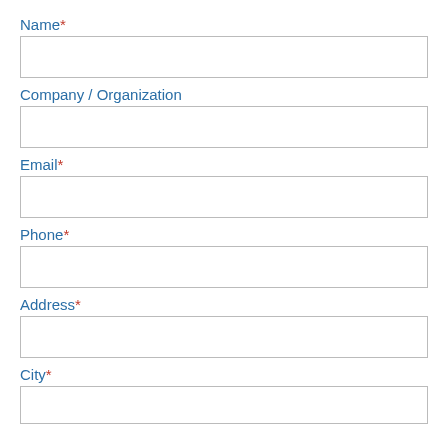Name*
Company / Organization
Email*
Phone*
Address*
City*